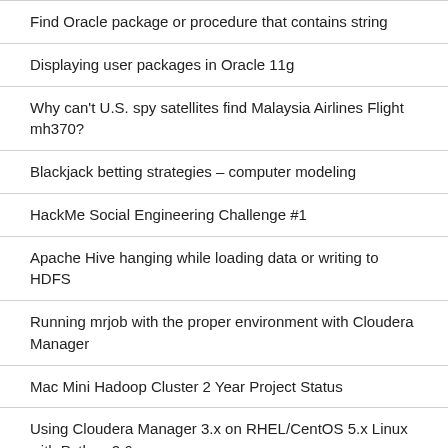Find Oracle package or procedure that contains string
Displaying user packages in Oracle 11g
Why can't U.S. spy satellites find Malaysia Airlines Flight mh370?
Blackjack betting strategies – computer modeling
HackMe Social Engineering Challenge #1
Apache Hive hanging while loading data or writing to HDFS
Running mrjob with the proper environment with Cloudera Manager
Mac Mini Hadoop Cluster 2 Year Project Status
Using Cloudera Manager 3.x on RHEL/CentOS 5.x Linux with Python 2.6